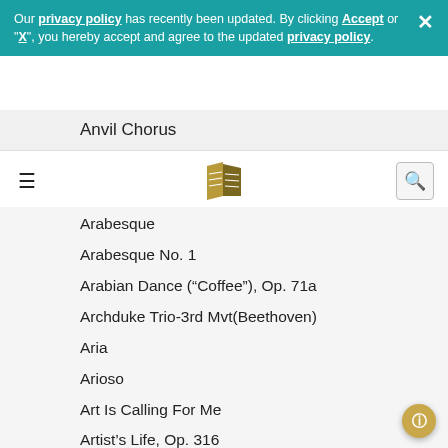Our privacy policy has recently been updated. By clicking Accept or "X", you hereby accept and agree to the updated privacy policy.
Anvil Chorus
[Figure (logo): Hal Leonard logo — stylized sheet music pages in gold/dark colors]
Arabesque
Arabesque No. 1
Arabian Dance (“Coffee”), Op. 71a
Archduke Trio-3rd Mvt(Beethoven)
Aria
Arioso
Art Is Calling For Me
Artist's Life, Op. 316
As Some Day It May Happen
Ase's Death
Auf Dem Wasser Zu Singen
Avant De Quitter Ces Lieux
Ave Maria
Ave Maria, Op. 52, No. 6
Ave Verum (Jesu, Word Of God Incarnate)